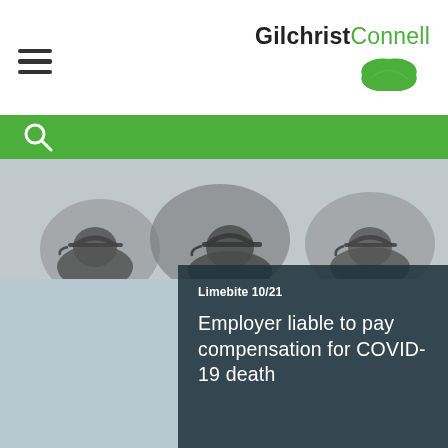Gilchrist Connell
[Figure (logo): Gilchrist Connell logo with black 'Gilchrist' and green 'Connell' text, with a green leaf/bowl shape below]
[Figure (photo): Grayscale photo of people wearing baseball caps, silhouetted/blurred background]
Limebite 10/21
Employer liable to pay compensation for COVID-19 death